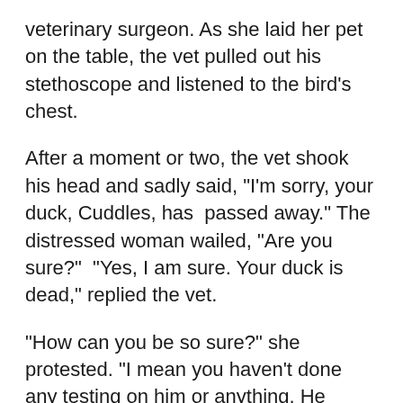veterinary surgeon. As she laid her pet on the table, the vet pulled out his stethoscope and listened to the bird's chest.
After a moment or two, the vet shook his head and sadly said, "I'm sorry, your duck, Cuddles, has passed away." The distressed woman wailed, "Are you sure?" "Yes, I am sure. Your duck is dead," replied the vet.
"How can you be so sure?" she protested. "I mean you haven't done any testing on him or anything. He might just be in a coma or something."
The vet rolled his eyes, turned around and left the room. He returned a few minutes later with a black Labrador Retriever. As the duck's owner